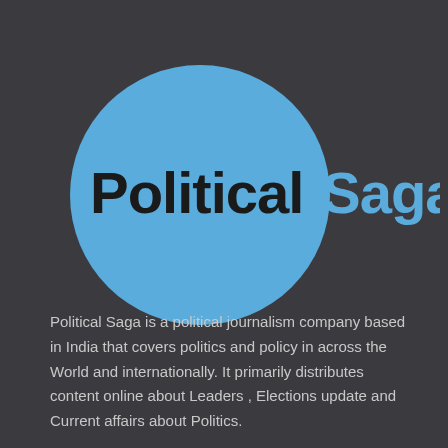[Figure (logo): Political Saga logo: a blue circle with bold black text 'Political' overlaid, and blue text 'Saga' to the right outside the circle]
Political Saga is a political journalism company based in India that covers politics and policy in across the World and internationally. It primarily distributes content online about Leaders , Elections update and Current affairs about Politics.